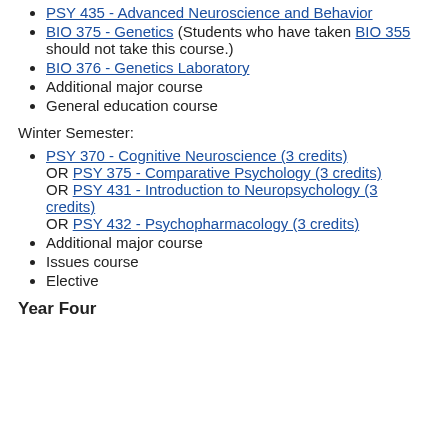PSY 435 - Advanced Neuroscience and Behavior
BIO 375 - Genetics (Students who have taken BIO 355 should not take this course.)
BIO 376 - Genetics Laboratory
Additional major course
General education course
Winter Semester:
PSY 370 - Cognitive Neuroscience (3 credits) OR PSY 375 - Comparative Psychology (3 credits) OR PSY 431 - Introduction to Neuropsychology (3 credits) OR PSY 432 - Psychopharmacology (3 credits)
Additional major course
Issues course
Elective
Year Four